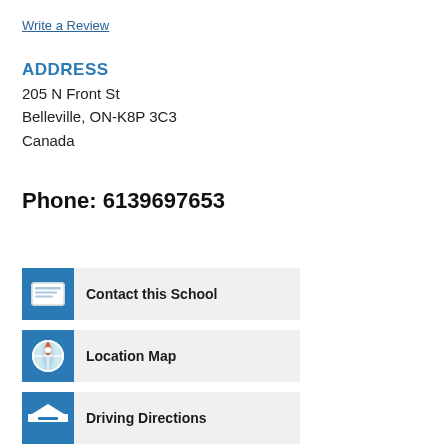Write a Review
ADDRESS
205 N Front St
Belleville, ON-K8P 3C3
Canada
Phone: 6139697653
Contact this School
Location Map
Driving Directions
Write a Review
Report Incorrect Data